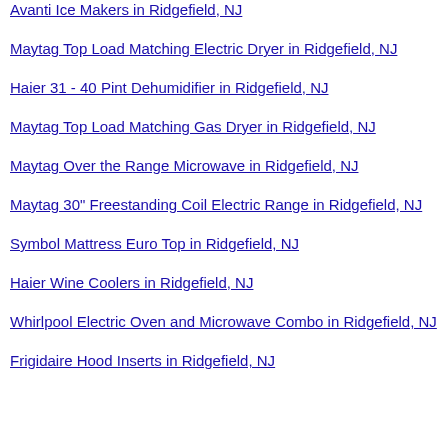Amana 30" Free Standing Gas Range in Ridgefield, NJ
Avanti Ice Makers in Ridgefield, NJ
Maytag Top Load Matching Electric Dryer in Ridgefield, NJ
Haier 31 - 40 Pint Dehumidifier in Ridgefield, NJ
Maytag Top Load Matching Gas Dryer in Ridgefield, NJ
Maytag Over the Range Microwave in Ridgefield, NJ
Maytag 30" Freestanding Coil Electric Range in Ridgefield, NJ
Symbol Mattress Euro Top in Ridgefield, NJ
Haier Wine Coolers in Ridgefield, NJ
Whirlpool Electric Oven and Microwave Combo in Ridgefield, NJ
Frigidaire Hood Inserts in Ridgefield, NJ